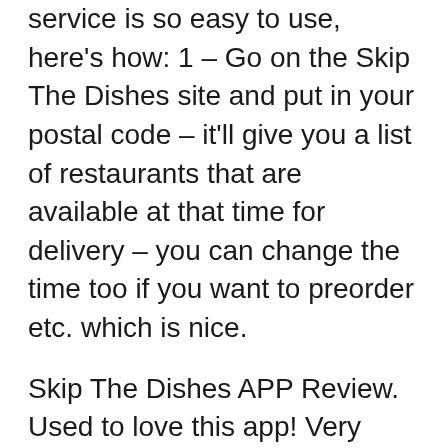service is so easy to use, here's how: 1 – Go on the Skip The Dishes site and put in your postal code – it'll give you a list of restaurants that are available at that time for delivery – you can change the time too if you want to preorder etc. which is nice.
Skip The Dishes APP Review. Used to love this app! Very unreliable now. You never get your food on time anymore. Every single time I order now, I get the same message. Skip is at a record high. This result is food being late every time. At least they would give you a whopping $5 dollars off Skip The Dishes Voucher Code on your next order but they don't even do that anymore. Also, the map to Skip the dishes has provided credits in the full amount for a future order.